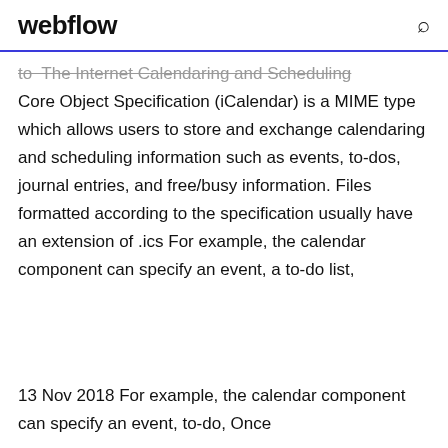webflow
to The Internet Calendaring and Scheduling Core Object Specification (iCalendar) is a MIME type which allows users to store and exchange calendaring and scheduling information such as events, to-dos, journal entries, and free/busy information. Files formatted according to the specification usually have an extension of .ics For example, the calendar component can specify an event, a to-do list,
13 Nov 2018 For example, the calendar component can specify an event, to-do, Once